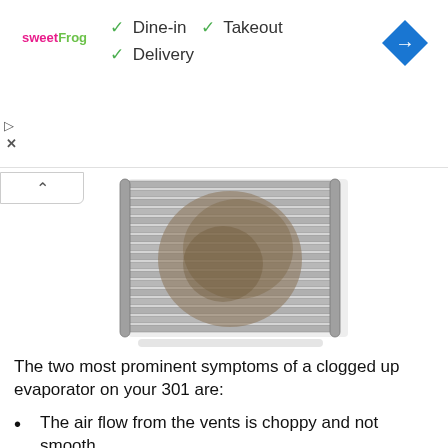[Figure (screenshot): Advertisement banner for sweetFrog showing Dine-in, Takeout, Delivery checkmarks and a blue navigation arrow icon]
[Figure (photo): A clogged automotive evaporator coil with visible dirt and debris buildup between the metal fins]
The two most prominent symptoms of a clogged up evaporator on your 301 are:
The air flow from the vents is choppy and not smooth.
The inside of the vehicle is developing a